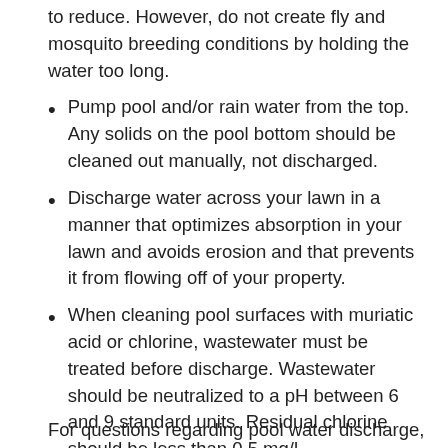to reduce. However, do not create fly and mosquito breeding conditions by holding the water too long.
Pump pool and/or rain water from the top. Any solids on the pool bottom should be cleaned out manually, not discharged.
Discharge water across your lawn in a manner that optimizes absorption in your lawn and avoids erosion and that prevents it from flowing off of your property.
When cleaning pool surfaces with muriatic acid or chlorine, wastewater must be treated before discharge. Wastewater should be neutralized to a pH between 6 and 9 standard units. Residual chlorine should be less than 0.5 mg/l.
For questions regarding pool water discharge,